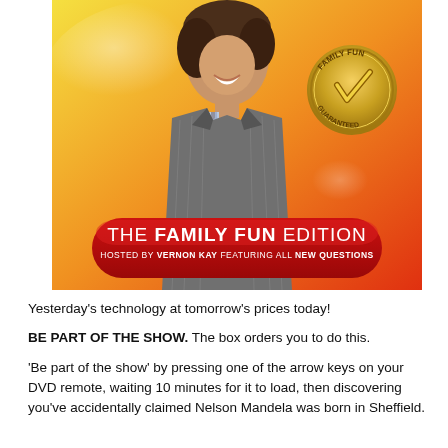[Figure (photo): DVD cover image showing a smiling young man in a pinstripe suit with a red banner reading 'THE FAMILY FUN EDITION - HOSTED BY VERNON KAY FEATURING ALL NEW QUESTIONS' and a gold badge reading 'FAMILY FUN GUARANTEED' on a yellow-orange gradient background.]
Yesterday's technology at tomorrow's prices today!
BE PART OF THE SHOW. The box orders you to do this.
'Be part of the show' by pressing one of the arrow keys on your DVD remote, waiting 10 minutes for it to load, then discovering you've accidentally claimed Nelson Mandela was born in Sheffield.